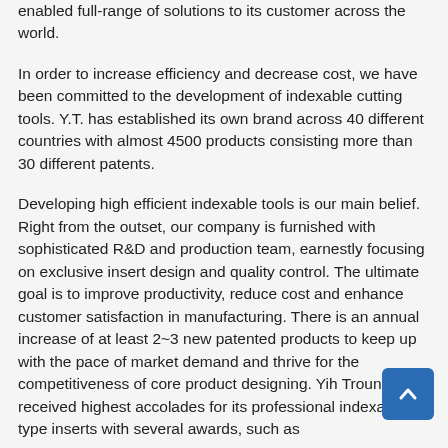enabled full-range of solutions to its customer across the world.
In order to increase efficiency and decrease cost, we have been committed to the development of indexable cutting tools. Y.T. has established its own brand across 40 different countries with almost 4500 products consisting more than 30 different patents.
Developing high efficient indexable tools is our main belief. Right from the outset, our company is furnished with sophisticated R&D and production team, earnestly focusing on exclusive insert design and quality control. The ultimate goal is to improve productivity, reduce cost and enhance customer satisfaction in manufacturing. There is an annual increase of at least 2~3 new patented products to keep up with the pace of market demand and thrive for the competitiveness of core product designing. Yih Troun has received highest accolades for its professional indexable type inserts with several awards, such as
(1) 2007 Taiwan Top 100 Enterprise Award.
(2) 2008 Taiwan Government Special Advisory for Factories.
(3) 2010 Ringier Metal Industry Innovation Award.